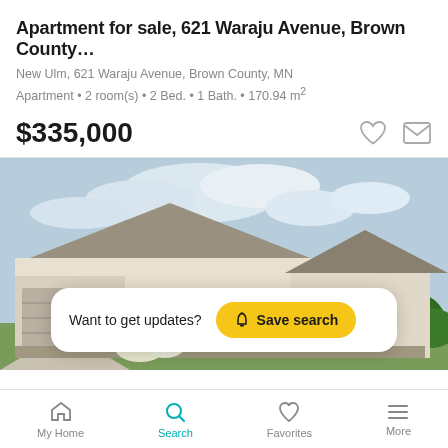Apartment for sale, 621 Waraju Avenue, Brown County…
New Ulm, 621 Waraju Avenue, Brown County, MN
Apartment • 2 room(s) • 2 Bed. • 1 Bath. • 170.94 m²
$335,000
[Figure (photo): Exterior photo of a single-story ranch-style home with beige siding, gray roof, and a garage door on the left. Trees visible on the right side. Cloudy sky in background. A 'Want to get updates? Save search' banner overlaid at the bottom.]
Want to get updates?  Save search
My Home  Search  Favorites  More